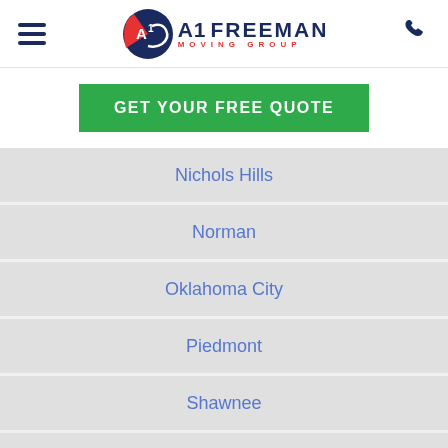[Figure (logo): A1 Freeman Moving Group logo with circular badge and company name]
GET YOUR FREE QUOTE
Nichols Hills
Norman
Oklahoma City
Piedmont
Shawnee
Weatherford